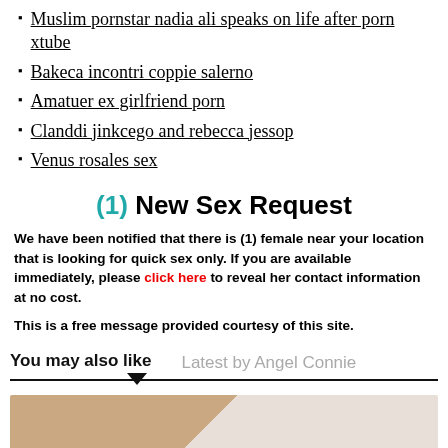Muslim pornstar nadia ali speaks on life after porn xtube
Bakeca incontri coppie salerno
Amatuer ex girlfriend porn
Clanddi jinkcego and rebecca jessop
Venus rosales sex
(1) New Sex Request
We have been notified that there is (1) female near your location that is looking for quick sex only. If you are available immediately, please click here to reveal her contact information at no cost.
This is a free message provided courtesy of this site.
You may also like   Latest by Angel Connie
[Figure (photo): Partial photo showing clothing/fabric, tan and white tones]